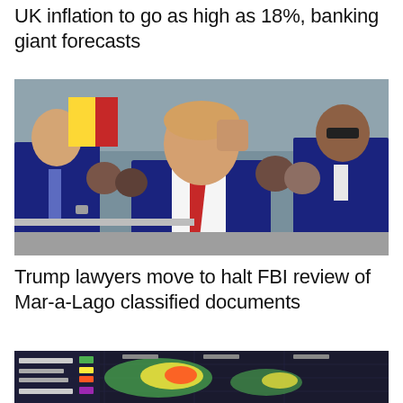UK inflation to go as high as 18%, banking giant forecasts
[Figure (photo): Donald Trump walking with security personnel, raising fist, wearing dark suit and red tie, crowds in background]
Trump lawyers move to halt FBI review of Mar-a-Lago classified documents
[Figure (screenshot): Weather radar map showing storm system with red/green/yellow colors indicating precipitation intensity]